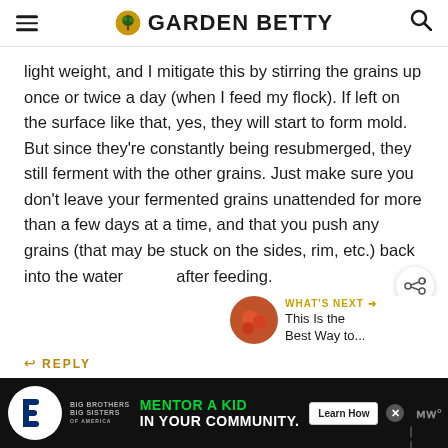GARDEN BETTY
light weight, and I mitigate this by stirring the grains up once or twice a day (when I feed my flock). If left on the surface like that, yes, they will start to form mold. But since they're constantly being resubmerged, they still ferment with the other grains. Just make sure you don't leave your fermented grains unattended for more than a few days at a time, and that you push any grains (that may be stuck on the sides, rim, etc.) back into the water after feeding.
REPLY
[Figure (screenshot): Advertisement banner: Big Brothers Big Sisters - MENTOR A KID IN YOUR COMMUNITY. Learn How button.]